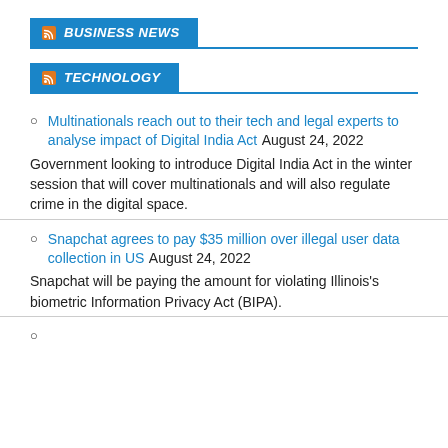BUSINESS NEWS
TECHNOLOGY
Multinationals reach out to their tech and legal experts to analyse impact of Digital India Act August 24, 2022
Government looking to introduce Digital India Act in the winter session that will cover multinationals and will also regulate crime in the digital space.
Snapchat agrees to pay $35 million over illegal user data collection in US August 24, 2022
Snapchat will be paying the amount for violating Illinois's biometric Information Privacy Act (BIPA).